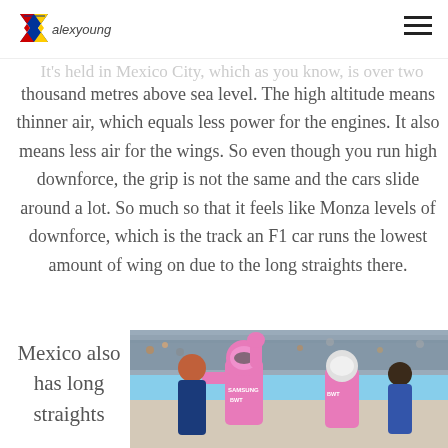alexyoung
It's held in Mexico City, which as you know, is over two thousand metres above sea level. The high altitude means thinner air, which equals less power for the engines. It also means less air for the wings. So even though you run high downforce, the grip is not the same and the cars slide around a lot. So much so that it feels like Monza levels of downforce, which is the track an F1 car runs the lowest amount of wing on due to the long straights there.
Mexico also has long straights
[Figure (photo): Racing drivers in pink/Sergio Perez style suits at a Formula 1 grid, one with fist raised, with pit lane girls and crowd in background]